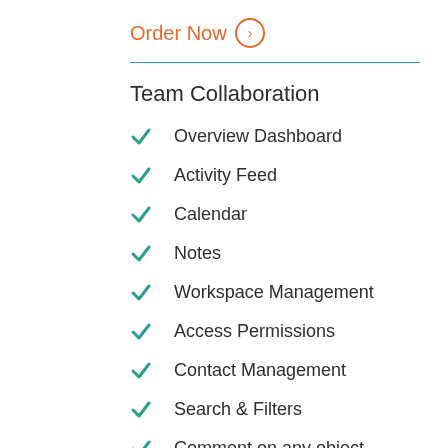Order Now →
Team Collaboration
Overview Dashboard
Activity Feed
Calendar
Notes
Workspace Management
Access Permissions
Contact Management
Search & Filters
Comment on any object
Notifications & Alerts